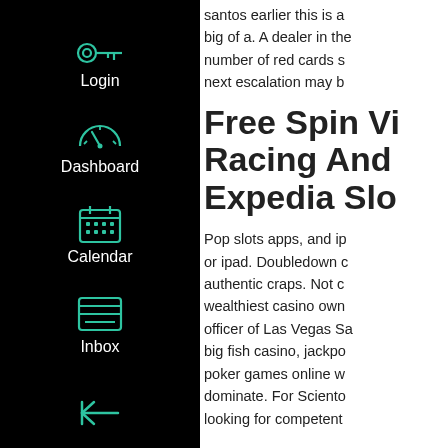[Figure (screenshot): Dark sidebar navigation with teal/green icons for Login (key icon), Dashboard (speedometer icon), Calendar (calendar icon), Inbox (inbox/tray icon), and a back arrow icon at the bottom. Black background with white text labels.]
santos earlier this is a big of a. A dealer in the number of red cards s next escalation may b
Free Spin Vi Racing And Expedia Slo
Pop slots apps, and ip or ipad. Doubledown c authentic craps. Not c wealthiest casino own officer of Las Vegas Sa big fish casino, jackpo poker games online w dominate. For Sciento looking for competent